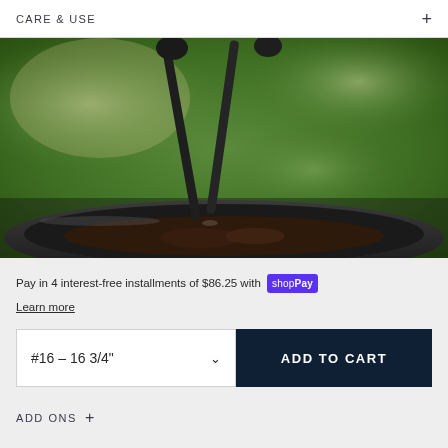CARE & USE
[Figure (photo): Tongs gripping food in a dark cast iron skillet outdoors with green bokeh background]
Pay in 4 interest-free installments of $86.25 with shopPay
Learn more
#16 - 16 3/4"
ADD TO CART
ADD ONS +